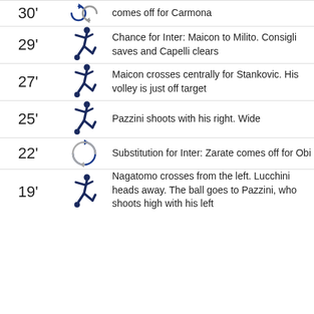| Time | Icon | Description |
| --- | --- | --- |
| 30' | substitution | comes off for Carmona |
| 29' | shot | Chance for Inter: Maicon to Milito. Consigli saves and Capelli clears |
| 27' | shot | Maicon crosses centrally for Stankovic. His volley is just off target |
| 25' | shot | Pazzini shoots with his right. Wide |
| 22' | substitution | Substitution for Inter: Zarate comes off for Obi |
| 19' | shot | Nagatomo crosses from the left. Lucchini heads away. The ball goes to Pazzini, who shoots high with his left |